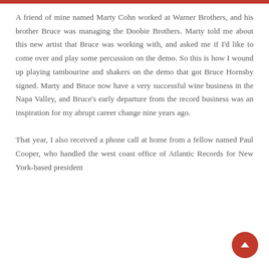A friend of mine named Marty Cohn worked at Warner Brothers, and his brother Bruce was managing the Doobie Brothers. Marty told me about this new artist that Bruce was working with, and asked me if I'd like to come over and play some percussion on the demo. So this is how I wound up playing tambourine and shakers on the demo that got Bruce Hornsby signed. Marty and Bruce now have a very successful wine business in the Napa Valley, and Bruce's early departure from the record business was an inspiration for my abrupt career change nine years ago.

That year, I also received a phone call at home from a fellow named Paul Cooper, who handled the west coast office of Atlantic Records for New York-based president